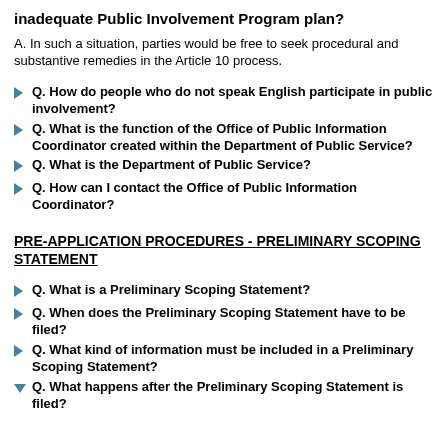inadequate Public Involvement Program plan?
A. In such a situation, parties would be free to seek procedural and substantive remedies in the Article 10 process.
Q. How do people who do not speak English participate in public involvement?
Q. What is the function of the Office of Public Information Coordinator created within the Department of Public Service?
Q. What is the Department of Public Service?
Q. How can I contact the Office of Public Information Coordinator?
PRE-APPLICATION PROCEDURES - PRELIMINARY SCOPING STATEMENT
Q. What is a Preliminary Scoping Statement?
Q. When does the Preliminary Scoping Statement have to be filed?
Q. What kind of information must be included in a Preliminary Scoping Statement?
Q. What happens after the Preliminary Scoping Statement is filed?